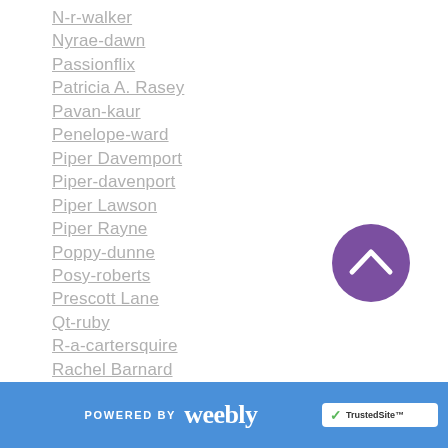N-r-walker
Nyrae-dawn
Passionflix
Patricia A. Rasey
Pavan-kaur
Penelope-ward
Piper Davemport
Piper-davenport
Piper Lawson
Piper Rayne
Poppy-dunne
Posy-roberts
Prescott Lane
Qt-ruby
R-a-cartersquire
Rachel Barnard
Rachel Blaufeld
POWERED BY weebly  TrustedSite